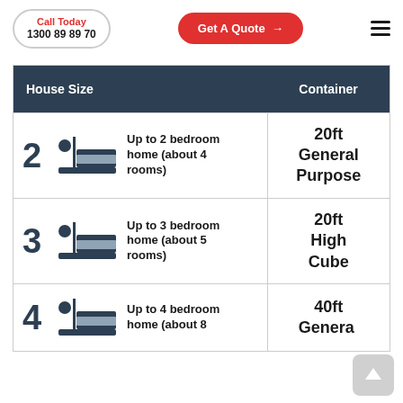Call Today 1300 89 89 70 | Get A Quote →
| House Size | Container |
| --- | --- |
| 2 [bed icon] Up to 2 bedroom home (about 4 rooms) | 20ft General Purpose |
| 3 [bed icon] Up to 3 bedroom home (about 5 rooms) | 20ft High Cube |
| 4 [bed icon] Up to 4 bedroom home (about 8 rooms) | 40ft General |